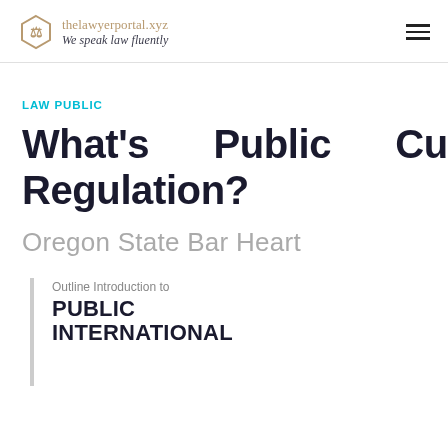thelawyerportal.xyz We speak law fluently
LAW PUBLIC
What's Public Curiosity Regulation?
Oregon State Bar Heart
[Figure (illustration): Partial view of a book cover with a vertical spine line, showing 'Outline Introduction to PUBLIC INTERNATIONAL' text on a white background]